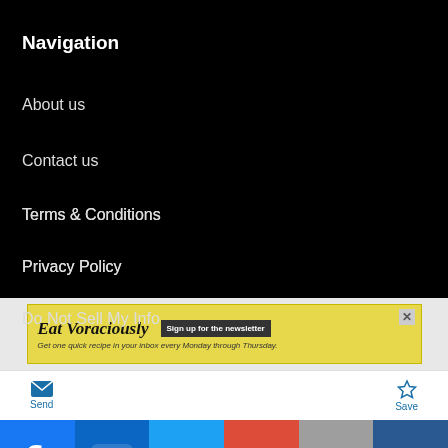Navigation
About us
Contact us
Terms & Conditions
Privacy Policy
Do Not Sell My Info
Help
Fraud
[Figure (infographic): Advertisement banner for 'Eat Voraciously' newsletter with yellow background, signup button, and close button]
[Figure (infographic): Bottom toolbar with Send (email icon) and Save (star icon) buttons in blue]
[Figure (infographic): Social media sharing bar with Facebook, LinkedIn, Twitter, Google+, Email, and Mightybell icons]